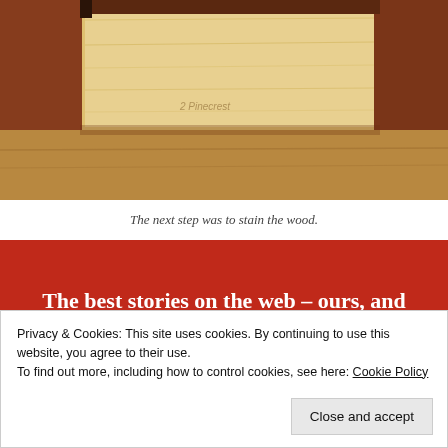[Figure (photo): Photograph of a wooden box or crate from above, showing wood grain, plywood interior and dark stained wooden sides on a floor surface.]
The next step was to stain the wood.
[Figure (other): Red promotional banner reading 'The best stories on the web – ours, and everyone else's.' with a 'Start reading' button below.]
Privacy & Cookies: This site uses cookies. By continuing to use this website, you agree to their use.
To find out more, including how to control cookies, see here: Cookie Policy
Close and accept